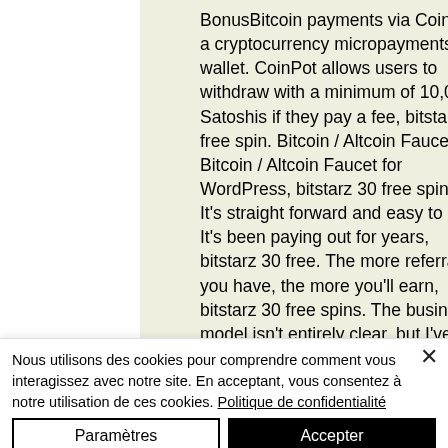BonusBitcoin payments via CoinPot, a cryptocurrency micropayments wallet. CoinPot allows users to withdraw with a minimum of 10,000 Satoshis if they pay a fee, bitstarz 30 free spin. Bitcoin / Altcoin Faucet. Bitcoin / Altcoin Faucet for WordPress, bitstarz 30 free spins. It's straight forward and easy to use. It's been paying out for years, bitstarz 30 free. The more referrals you have, the more you'll earn, bitstarz 30 free spins. The business model isn't entirely clear, but I've been successfully withdrawing for years. This is a very secure platform that helps keep
Nous utilisons des cookies pour comprendre comment vous interagissez avec notre site. En acceptant, vous consentez à notre utilisation de ces cookies. Politique de confidentialité
Paramètres
Accepter